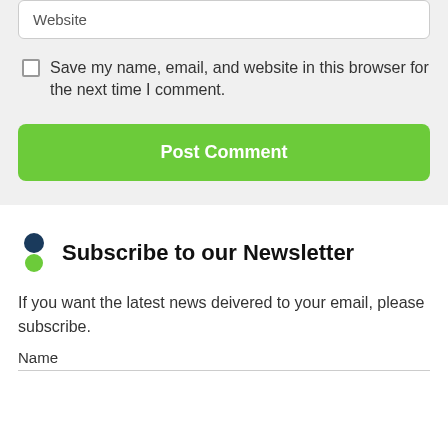Website
Save my name, email, and website in this browser for the next time I comment.
Post Comment
Subscribe to our Newsletter
If you want the latest news deivered to your email, please subscribe.
Name